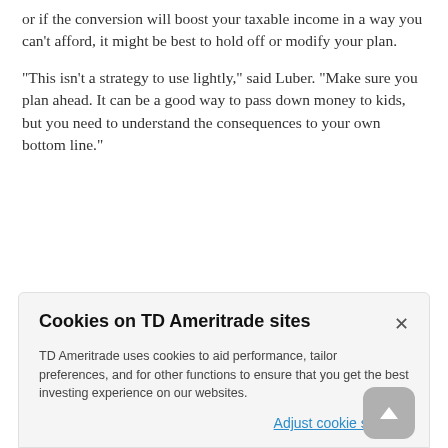or if the conversion will boost your taxable income in a way you can't afford, it might be best to hold off or modify your plan.
“This isn’t a strategy to use lightly,” said Luber. “Make sure you plan ahead. It can be a good way to pass down money to kids, but you need to understand the consequences to your own bottom line.”
[Figure (screenshot): Cookie consent dialog for TD Ameritrade sites with title 'Cookies on TD Ameritrade sites', body text about cookie usage, an X close button, and an 'Adjust cookie settings' link. A scroll-to-top button overlaps the bottom right.]